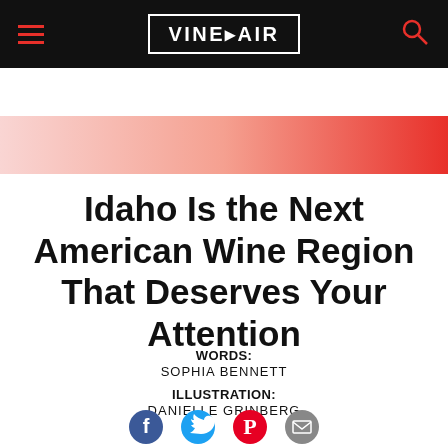VinePair
[Figure (illustration): Pink to red horizontal gradient band]
Idaho Is the Next American Wine Region That Deserves Your Attention
WORDS: SOPHIA BENNETT
ILLUSTRATION: DANIELLE GRINBERG
[Figure (illustration): Social media sharing icons: Facebook, Twitter, Pinterest, Email]